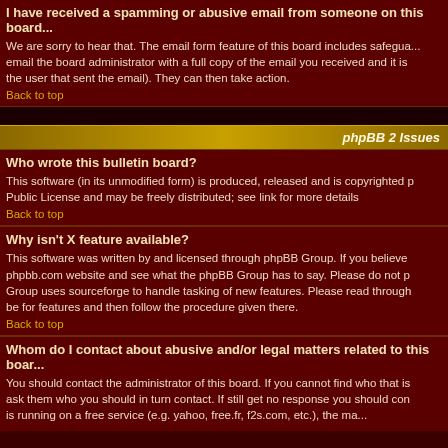I have received a spamming or abusive email from someone on this board
We are sorry to hear that. The email form feature of this board includes safeguards to try and track users who send such posts, so email the board administrator with a full copy of the email you received and it is very important that this includes the headers (these list the user that sent the email). They can then take action.
Back to top
phpBB 2 Issues
Who wrote this bulletin board?
This software (in its unmodified form) is produced, released and is copyrighted phpBB Group. It is made available under the GNU General Public License and may be freely distributed; see link for more details
Back to top
Why isn't X feature available?
This software was written by and licensed through phpBB Group. If you believe a feature needs to be added then please visit the phpbb.com website and see what the phpBB Group has to say. Please do not post feature requests to the board at phpbb.com, the Group uses sourceforge to handle tasking of new features. Please read through the forums and see what has been suggested, there may be for features and then follow the procedure given there.
Back to top
Whom do I contact about abusive and/or legal matters related to this board?
You should contact the administrator of this board. If you cannot find who that is, you should first contact one of the forum moderators and ask them who you should in turn contact. If still get no response you should contact the owner of the domain (do a whois lookup) or, if this is running on a free service (e.g. yahoo, free.fr, f2s.com, etc.), the management or abuse department of that service.